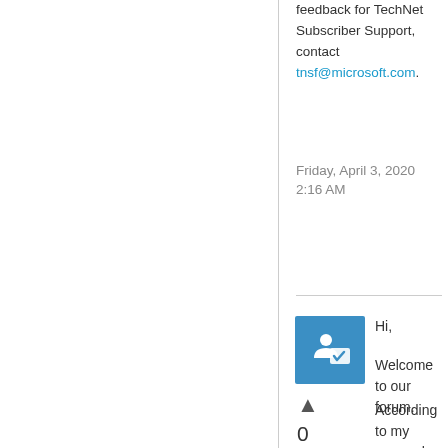feedback for TechNet Subscriber Support, contact tnsf@microsoft.com.
Friday, April 3, 2020 2:16 AM
[Figure (other): Blue square icon with a person and checkmark (TechNet answer/vote icon), with an upward triangle arrow vote button below it, the number 0, and a 'Sign in to vote' link]
Hi,
Welcome to our forum.
According to my research, Outlook only allows to select and